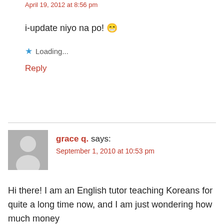April 19, 2012 at 8:56 pm
i-update niyo na po! 😁
★ Loading...
Reply
grace q. says:
September 1, 2010 at 10:53 pm
Hi there! I am an English tutor teaching Koreans for quite a long time now, and I am just wondering how much money
(in pesos) do I need to get to and from Korea and how much pocket money should I take with me for a week's